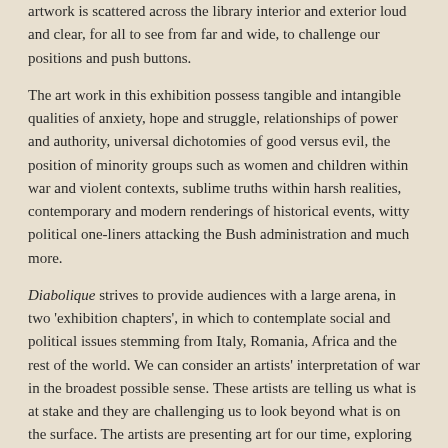artwork is scattered across the library interior and exterior loud and clear, for all to see from far and wide, to challenge our positions and push buttons.
The art work in this exhibition possess tangible and intangible qualities of anxiety, hope and struggle, relationships of power and authority, universal dichotomies of good versus evil, the position of minority groups such as women and children within war and violent contexts, sublime truths within harsh realities, contemporary and modern renderings of historical events, witty political one-liners attacking the Bush administration and much more.
Diabolique strives to provide audiences with a large arena, in two 'exhibition chapters', in which to contemplate social and political issues stemming from Italy, Romania, Africa and the rest of the world. We can consider an artists' interpretation of war in the broadest possible sense. These artists are telling us what is at stake and they are challenging us to look beyond what is on the surface. The artists are presenting art for our time, exploring very critical, timely and complex issues in a refreshing manner, providing a glimmer of hope and an opportunity for questioning and reevaluation. Like Picasso's Guernica, 1937, each image has the ability to imprint.